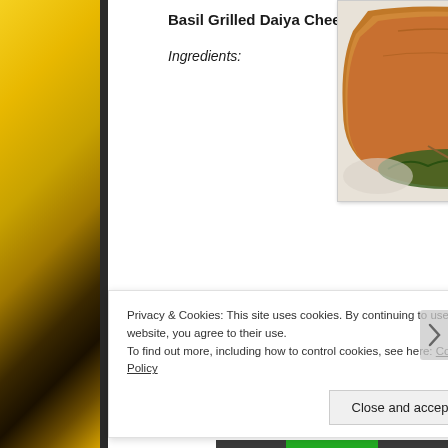[Figure (photo): Left side banana image strip serving as decorative sidebar background]
[Figure (photo): Food photo showing a grilled cheese sandwich on a white plate with green lettuce and dark garnish]
Basil Grilled Daiya Cheese
Ingredients:
Privacy & Cookies: This site uses cookies. By continuing to use this website, you agree to their use.
To find out more, including how to control cookies, see here: Cookie Policy
Close and accept